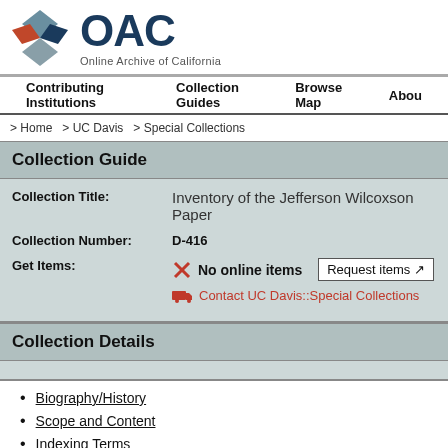[Figure (logo): OAC Online Archive of California logo with geometric diamond shapes in red, blue, and gray]
Contributing Institutions  Collection Guides  Browse Map  About
> Home > UC Davis > Special Collections
Collection Guide
Collection Title:  Inventory of the Jefferson Wilcoxson Papers
Collection Number:  D-416
Get Items:  No online items  Request items  Contact UC Davis::Special Collections
Collection Details
Biography/History
Scope and Content
Indexing Terms
Access
Acquisition Information